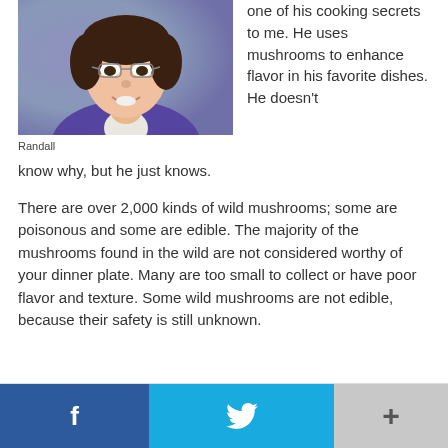[Figure (photo): Portrait photo of a woman named Randall wearing glasses and a purple jacket, smiling, with a blue-grey background.]
Randall
one of his cooking secrets to me. He uses mushrooms to enhance flavor in his favorite dishes. He doesn't know why, but he just knows.
There are over 2,000 kinds of wild mushrooms; some are poisonous and some are edible. The majority of the mushrooms found in the wild are not considered worthy of your dinner plate. Many are too small to collect or have poor flavor and texture. Some wild mushrooms are not edible, because their safety is still unknown.
f  [twitter bird]  +